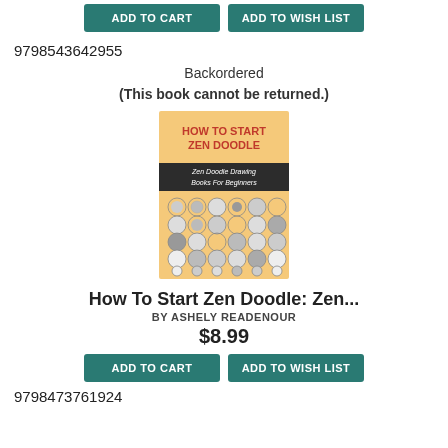[Figure (other): Two teal buttons: ADD TO CART and ADD TO WISH LIST at top of page]
9798543642955
Backordered
(This book cannot be returned.)
[Figure (illustration): Book cover for 'How To Start Zen Doodle' by Ashely Readenour, yellow cover with circular doodle patterns]
How To Start Zen Doodle: Zen...
BY ASHELY READENOUR
$8.99
[Figure (other): Two teal buttons: ADD TO CART and ADD TO WISH LIST]
9798473761924